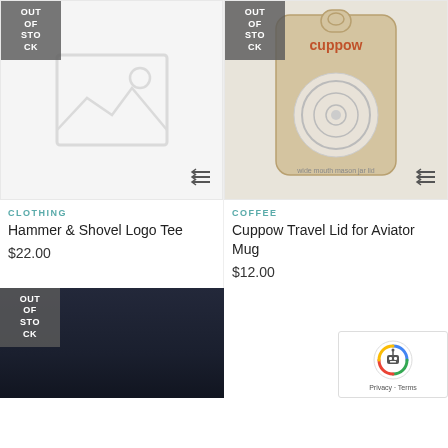[Figure (photo): Placeholder image for clothing product (no image available), with OUT OF STOCK badge]
[Figure (photo): Photo of Cuppow Travel Lid for Aviator Mug in retail packaging, with OUT OF STOCK badge]
CLOTHING
Hammer & Shovel Logo Tee
$22.00
COFFEE
Cuppow Travel Lid for Aviator Mug
$12.00
[Figure (photo): Dark product photo (out of stock) at bottom left, OUT OF STOCK badge overlay]
[Figure (other): reCAPTCHA badge with robot logo and Privacy · Terms links at bottom right]